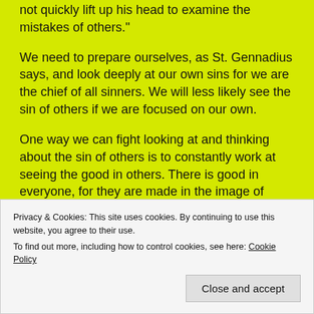not quickly lift up his head to examine the mistakes of others."
We need to prepare ourselves, as St. Gennadius says, and look deeply at our own sins for we are the chief of all sinners. We will less likely see the sin of others if we are focused on our own.
One way we can fight looking at and thinking about the sin of others is to constantly work at seeing the good in others. There is good in everyone, for they are made in the image of God. Find one good thing.
Privacy & Cookies: This site uses cookies. By continuing to use this website, you agree to their use.
To find out more, including how to control cookies, see here: Cookie Policy